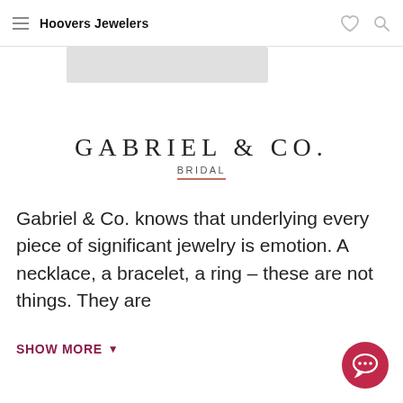Hoovers Jewelers
[Figure (other): Gray image placeholder/stub at top of page]
[Figure (logo): Gabriel & Co. Bridal logo — serif uppercase text with 'BRIDAL' subtitle underlined in terracotta]
Gabriel & Co. knows that underlying every piece of significant jewelry is emotion. A necklace, a bracelet, a ring – these are not things. They are
SHOW MORE
[Figure (illustration): Dark pink circular chat/messaging button icon in bottom right corner]